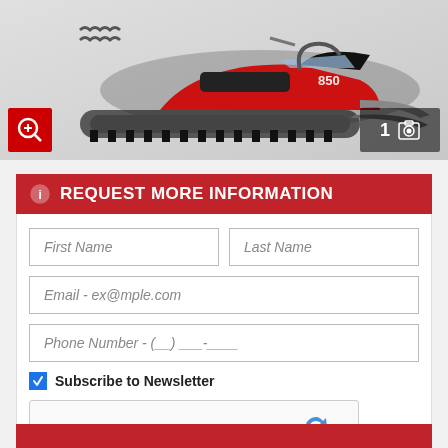[Figure (photo): Snowmobile product image with zoom icon overlay on left and photo count overlay on right showing '1' with camera icon]
REQUEST MORE INFORMATION
First Name
Last Name
Email - ex@mple.com
Phone Number - (__) ___-____
Subscribe to Newsletter
[Figure (screenshot): reCAPTCHA widget with checkbox and 'I'm not a robot' label, reCAPTCHA logo, Privacy and Terms links]